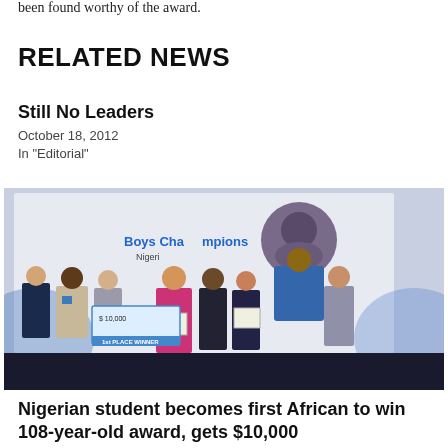been found worthy of the award.
RELATED NEWS
Still No Leaders
October 18, 2012
In "Editorial"
[Figure (photo): Group photo of people posing with a large check for $10,000 labeled '1st Place Winner' and 'Boys Champions' text visible on a backdrop. Several people are holding certificates. A circular portrait is visible on the backdrop.]
Nigerian student becomes first African to win 108-year-old award, gets $10,000